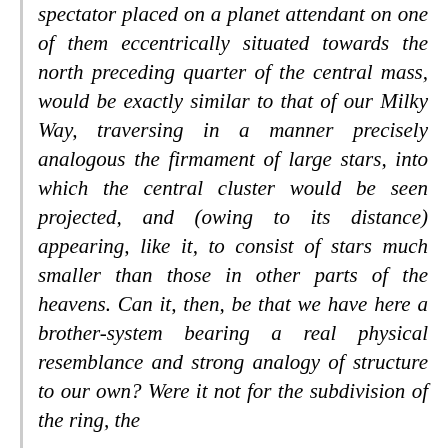spectator placed on a planet attendant on one of them eccentrically situated towards the north preceding quarter of the central mass, would be exactly similar to that of our Milky Way, traversing in a manner precisely analogous the firmament of large stars, into which the central cluster would be seen projected, and (owing to its distance) appearing, like it, to consist of stars much smaller than those in other parts of the heavens. Can it, then, be that we have here a brother-system bearing a real physical resemblance and strong analogy of structure to our own? Were it not for the subdivision of the ring, the